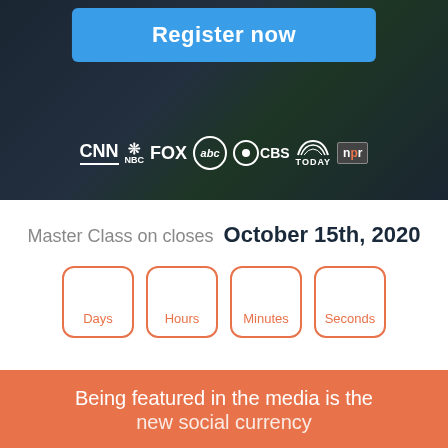[Figure (screenshot): Dark hero banner with 'Register now' blue button and media logos: CNN, NBC, FOX, abc, CBS, TODAY, NPR]
Master Class on closes  October 15th, 2020
[Figure (infographic): Countdown timer boxes labeled Days, Hours, Minutes, Seconds with coral/orange border]
Being featured in the media is the new social currency